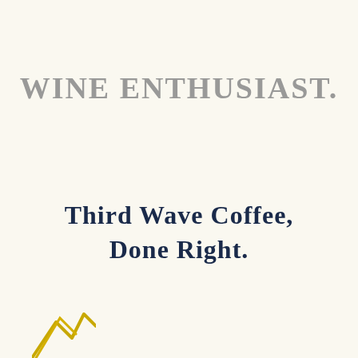[Figure (logo): Wine Enthusiast logo in gray small-caps serif font with a period after 'Enthusiast']
Third Wave Coffee, Done Right.
[Figure (illustration): Partial decorative gold/yellow graphic element visible at bottom-left corner, partially cropped]